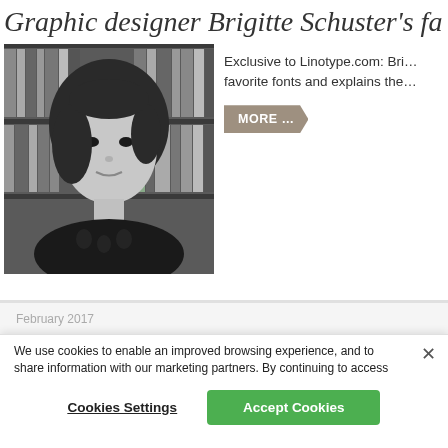Graphic designer Brigitte Schuster's fa…
[Figure (photo): Black and white portrait photo of Brigitte Schuster, a woman with dark hair, standing in front of bookshelves]
Exclusive to Linotype.com: Bri… favorite fonts and explains the…
MORE …
February 2017
We use cookies to enable an improved browsing experience, and to share information with our marketing partners. By continuing to access the website, you agree that we will store data in a cookie as outlined in our Privacy Policy.
Cookies Settings
Accept Cookies